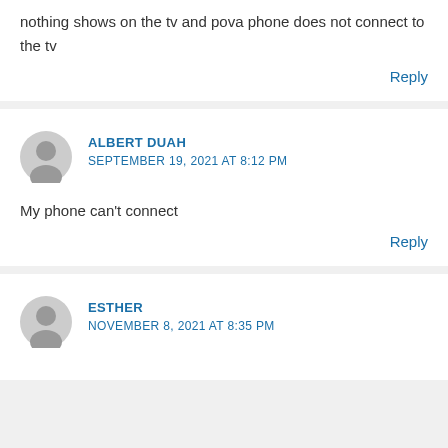nothing shows on the tv and pova phone does not connect to the tv
Reply
ALBERT DUAH
SEPTEMBER 19, 2021 AT 8:12 PM
My phone can’t connect
Reply
ESTHER
NOVEMBER 8, 2021 AT 8:35 PM